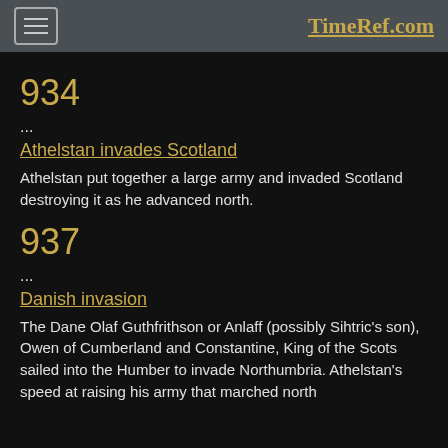TimeRef.com
934
...
Athelstan invades Scotland
Athelstan put together a large army and invaded Scotland destroying it as he advanced north.
937
...
Danish invasion
The Dane Olaf Guthfrithson or Anlaff (possibly Sihtric's son), Owen of Cumberland and Constantine, King of the Scots sailed into the Humber to invade Northumbria. Athelstan's speed at raising his army that marched north